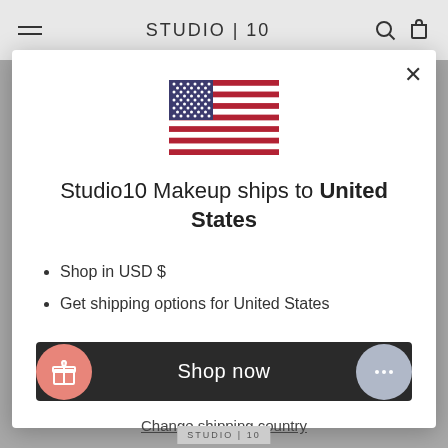STUDIO | 10
[Figure (illustration): United States flag SVG illustration]
Studio10 Makeup ships to United States
Shop in USD $
Get shipping options for United States
Shop now
Change shipping country